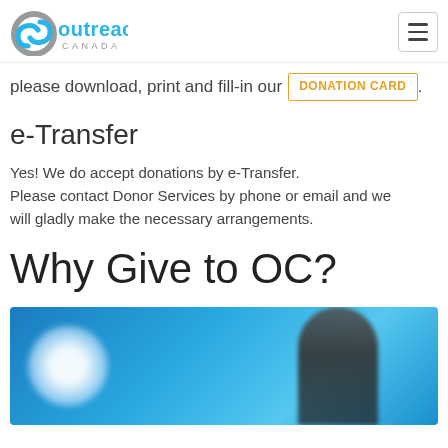Outreach Canada
please download, print and fill-in our DONATION CARD .
e-Transfer
Yes! We do accept donations by e-Transfer. Please contact Donor Services by phone or email and we will gladly make the necessary arrangements.
Why Give to OC?
[Figure (photo): Blue background photo with a blurred circular logo on the left and a person standing on the right against a bright blue background.]